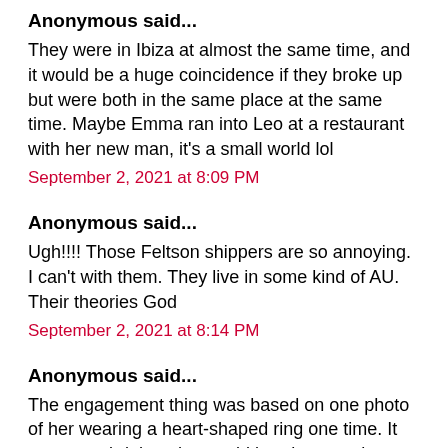Anonymous said...
They were in Ibiza at almost the same time, and it would be a huge coincidence if they broke up but were both in the same place at the same time. Maybe Emma ran into Leo at a restaurant with her new man, it's a small world lol
September 2, 2021 at 8:09 PM
Anonymous said...
Ugh!!!! Those Feltson shippers are so annoying. I can't with them. They live in some kind of AU. Their theories God
September 2, 2021 at 8:14 PM
Anonymous said...
The engagement thing was based on one photo of her wearing a heart-shaped ring one time. It seems weird that she would break a year-long silence to deny a rumor just for it to turn out true a few months later.
September 2, 2021 at 8:17 PM